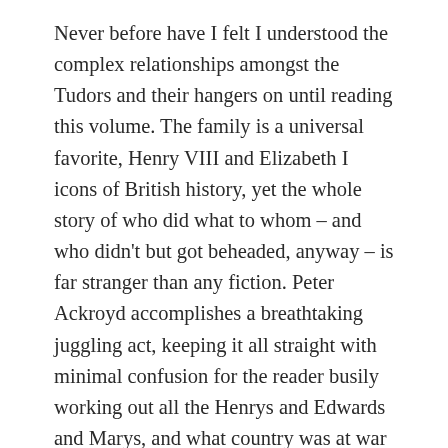Never before have I felt I understood the complex relationships amongst the Tudors and their hangers on until reading this volume. The family is a universal favorite, Henry VIII and Elizabeth I icons of British history, yet the whole story of who did what to whom – and who didn't but got beheaded, anyway – is far stranger than any fiction. Peter Ackroyd accomplishes a breathtaking juggling act, keeping it all straight with minimal confusion for the reader busily working out all the Henrys and Edwards and Marys, and what country was at war with which in an age when power and alliances shifted seemingly daily.
He's so easily read,  unlike any dry history we all suffered through in high school. I don't know how